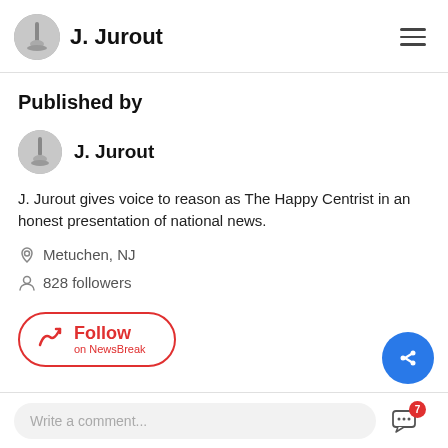J. Jurout
Published by
J. Jurout
J. Jurout gives voice to reason as The Happy Centrist in an honest presentation of national news.
Metuchen, NJ
828 followers
Follow on NewsBreak
Write a comment...